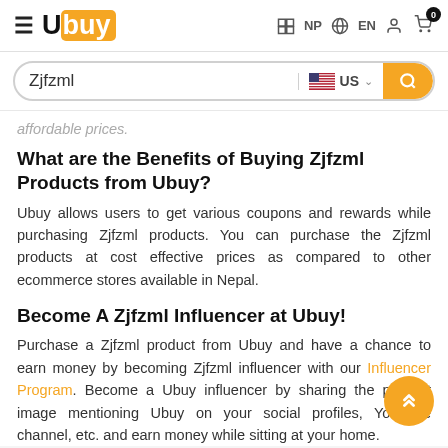≡ Ubuy | NP | EN | Account | Cart 0
Zjfzml | US | Search
affordable prices.
What are the Benefits of Buying Zjfzml Products from Ubuy?
Ubuy allows users to get various coupons and rewards while purchasing Zjfzml products. You can purchase the Zjfzml products at cost effective prices as compared to other ecommerce stores available in Nepal.
Become A Zjfzml Influencer at Ubuy!
Purchase a Zjfzml product from Ubuy and have a chance to earn money by becoming Zjfzml influencer with our Influencer Program. Become a Ubuy influencer by sharing the product image mentioning Ubuy on your social profiles, YouTube channel, etc. and earn money while sitting at your home.